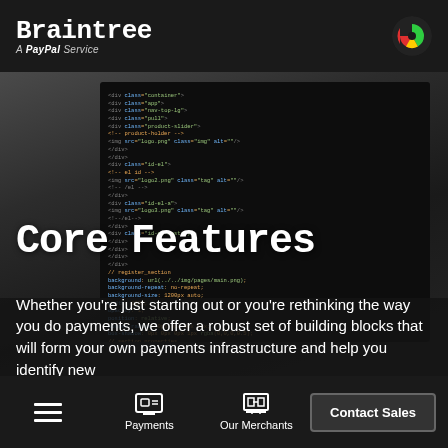Braintree — A PayPal Service
[Figure (screenshot): Laptop screen showing code editor with HTML/CSS code in dark theme with orange and blue syntax highlighting]
Core Features
Whether you’re just starting out or you’re rethinking the way you do payments, we offer a robust set of building blocks that will form your own payments infrastructure and help you identify new
Payments | Our Merchants | Contact Sales